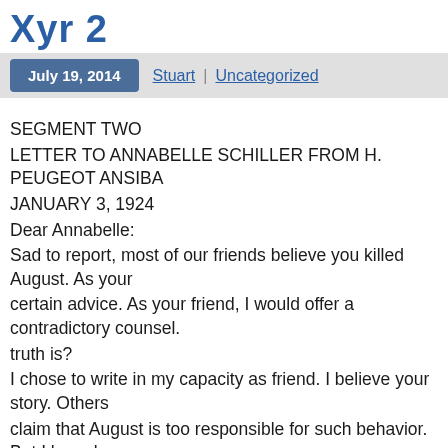Xyr 2
July 19, 2014 | Stuart | Uncategorized
SEGMENT TWO
LETTER TO ANNABELLE SCHILLER FROM H. PEUGEOT ANSIBA
JANUARY 3, 1924
Dear Annabelle:
Sad to report, most of our friends believe you killed August. As your certain advice. As your friend, I would offer a contradictory counsel. truth is?
I chose to write in my capacity as friend. I believe your story. Others claim that August is too responsible for such behavior. But I have kn childhood. If August is responsible, in the social sense of the word, responsibility was beaten into him by a father who feared all forms o son's genius. Schiller hid his eccentricities, the radical beliefs he for himself. He was able to make a career out of things invisible. Instea he discussed sub-atomic particles. Instead of the devil, he discusse scientific facade.
There were some, like I, who saw the symptoms of madness in his s Inquiries have been made to certain of my contacts who would su